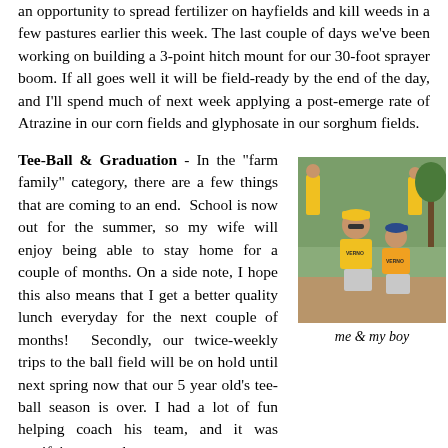an opportunity to spread fertilizer on hayfields and kill weeds in a few pastures earlier this week. The last couple of days we've been working on building a 3-point hitch mount for our 30-foot sprayer boom. If all goes well it will be field-ready by the end of the day, and I'll spend much of next week applying a post-emerge rate of Atrazine in our corn fields and glyphosate in our sorghum fields.
Tee-Ball & Graduation - In the "farm family" category, there are a few things that are coming to an end. School is now out for the summer, so my wife will enjoy being able to stay home for a couple of months. On a side note, I hope this also means that I get a better quality lunch everyday for the next couple of months! Secondly, our twice-weekly trips to the ball field will be on hold until next spring now that our 5 year old's tee-ball season is over. I had a lot of fun helping coach his team, and it was gratifying to see how
[Figure (photo): A man and a boy in yellow shirts and caps, with people in background, outdoors among trees.]
me & my boy